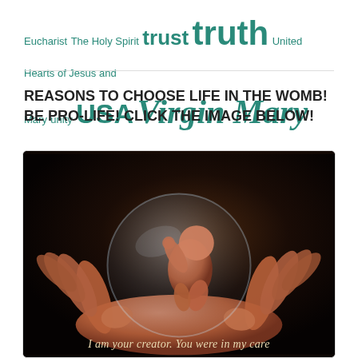Eucharist The Holy Spirit trust truth United Hearts of Jesus and Mary unity USA Virgin Mary visionaries war
REASONS TO CHOOSE LIFE IN THE WOMB! BE PRO-LIFE! CLICK THE IMAGE BELOW!
[Figure (illustration): Illustration of a fetus in a transparent sphere cradled in cupped hands, against a dark background. Text at bottom reads: I am your creator. You were in my care...]